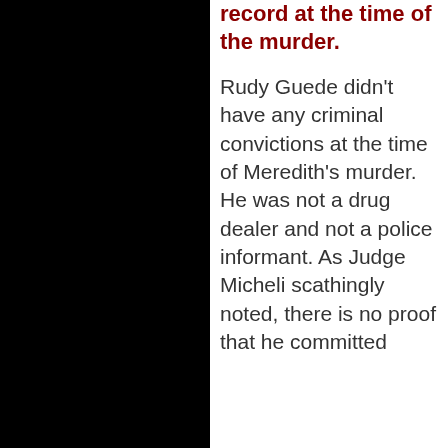record at the time of the murder.
Rudy Guede didn't have any criminal convictions at the time of Meredith's murder. He was not a drug dealer and not a police informant. As Judge Micheli scathingly noted, there is no proof that he committed